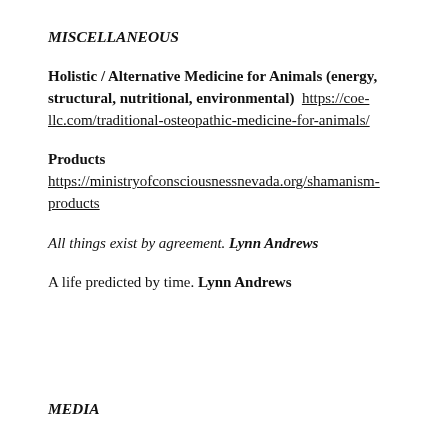MISCELLANEOUS
Holistic / Alternative Medicine for Animals (energy, structural, nutritional, environmental)  https://coe-llc.com/traditional-osteopathic-medicine-for-animals/
Products https://ministryofconsciousnessnevada.org/shamanism-products
All things exist by agreement. Lynn Andrews
A life predicted by time. Lynn Andrews
MEDIA